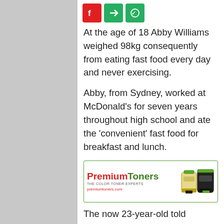[Figure (other): Three social share icon buttons: red (Facebook-style), green (Twitter-style arrow), green (WhatsApp-style)]
At the age of 18 Abby Williams weighed 98kg consequently from eating fast food every day and never exercising.
Abby, from Sydney, worked at McDonald's for seven years throughout high school and ate the 'convenient' fast food for breakfast and lunch.
[Figure (other): PremiumToners advertisement banner. Brand name in red and green, tagline 'THE COLOR TONER EXPERTS', URL premiumtoners.com, with images of toner cartridges.]
The now 23-year-old told FEMAIL she managed to drop an astonishing 40kg in just 18 months.
Today she works as a personal trainer